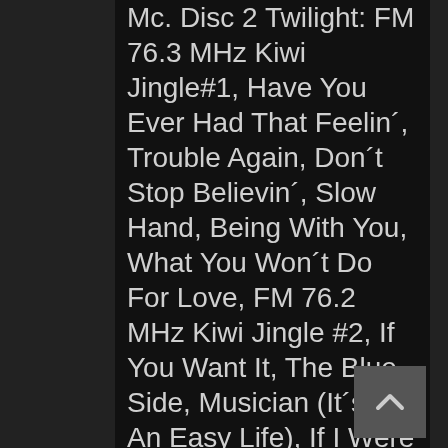Mc. Disc 2 Twilight: FM 76.3 MHz Kiwi Jingle#1, Have You Ever Had That Feelin´, Trouble Again, Don´t Stop Believin´, Slow Hand, Being With You, What You Won´t Do For Love, FM 76.2 MHz Kiwi Jingle #2, If You Want It, The Blue Side, Musician (It´s Not An Easy Life), If I Were You, That Old Song, Sexy Eyes, FM 76.3 MHz Kiwi Jingle #1 Acapella, Got To Go Back...